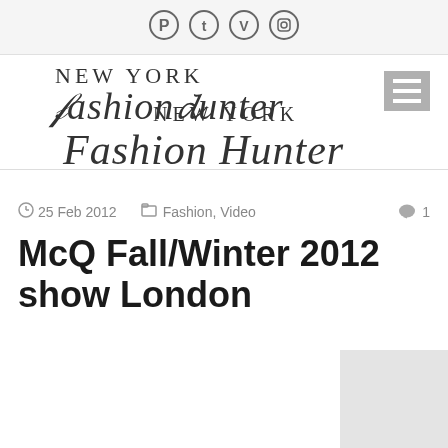Social icons: Pinterest, Twitter, Vimeo, Instagram
[Figure (logo): New York Fashion Hunter blog logo with cursive script]
25 Feb 2012  Fashion, Video  1
McQ Fall/Winter 2012 show London
[Figure (photo): Partially visible image in bottom right corner]